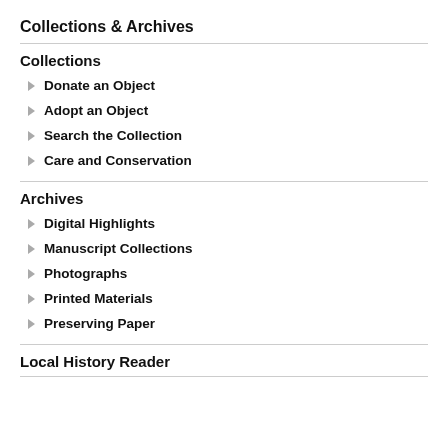Collections & Archives
Collections
Donate an Object
Adopt an Object
Search the Collection
Care and Conservation
Archives
Digital Highlights
Manuscript Collections
Photographs
Printed Materials
Preserving Paper
Local History Reader